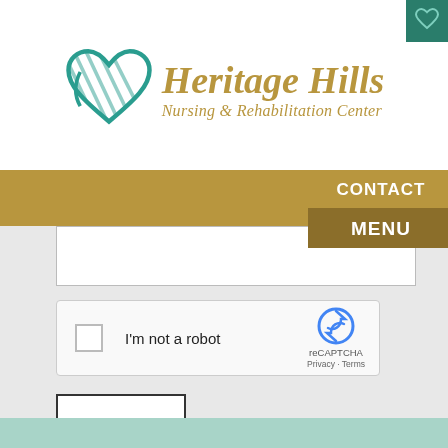[Figure (logo): Heritage Hills Nursing & Rehabilitation Center logo with teal heart/ribbon graphic and gold italic text]
CONTACT
MENU
[Figure (screenshot): Web form showing a text input field, reCAPTCHA checkbox with 'I'm not a robot' label, and a Submit button on a light gray background]